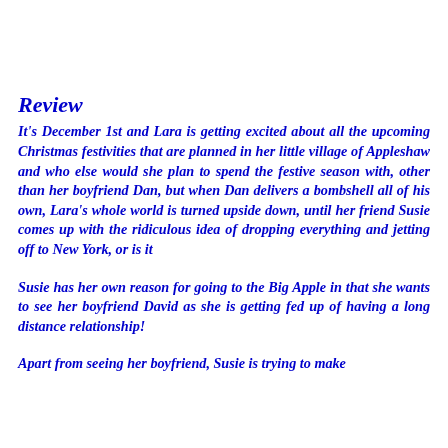Review
It's December 1st and Lara is getting excited about all the upcoming Christmas festivities that are planned in her little village of Appleshaw and who else would she plan to spend the festive season with, other than her boyfriend Dan, but when Dan delivers a bombshell all of his own, Lara's whole world is turned upside down, until her friend Susie comes up with the ridiculous idea of dropping everything and jetting off to New York, or is it
Susie has her own reason for going to the Big Apple in that she wants to see her boyfriend David as she is getting fed up of having a long distance relationship!
Apart from seeing her boyfriend, Susie is trying to make